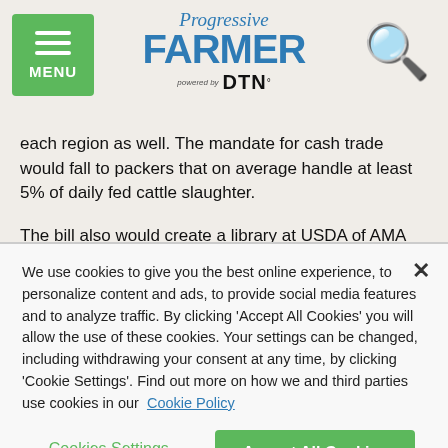Progressive FARMER powered by DTN
each region as well. The mandate for cash trade would fall to packers that on average handle at least 5% of daily fed cattle slaughter.
The bill also would create a library at USDA of AMA contracts that would allow cattle producers to see the premiums others are receiving.
Backers of the bill, which includes senators on both sides of the
We use cookies to give you the best online experience, to personalize content and ads, to provide social media features and to analyze traffic. By clicking 'Accept All Cookies' you will allow the use of these cookies. Your settings can be changed, including withdrawing your consent at any time, by clicking 'Cookie Settings'. Find out more on how we and third parties use cookies in our Cookie Policy
Cookies Settings
Accept All Cookies